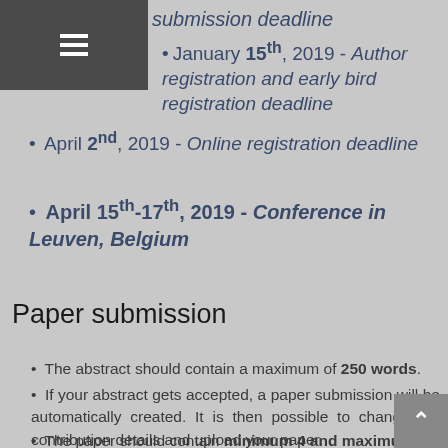submission deadline
January 15th, 2019 - Author registration and early bird registration deadline
April 2nd, 2019 - Online registration deadline
April 15th-17th, 2019 - Conference in Leuven, Belgium
Paper submission
The abstract should contain a maximum of 250 words.
If your abstract gets accepted, a paper submission will be automatically created. It is then possible to change the contribution details and upload your paper.
The paper should contain minimum 4 and maximum 8 pages and should be submitted in pdf format before